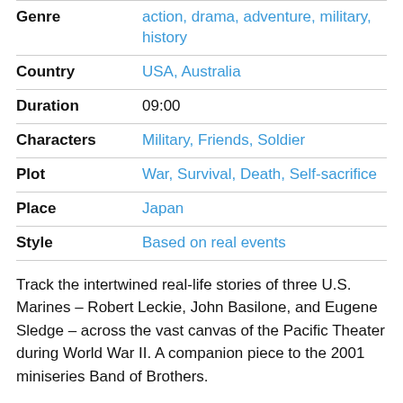| Field | Value |
| --- | --- |
| Genre | action, drama, adventure, military, history |
| Country | USA, Australia |
| Duration | 09:00 |
| Characters | Military, Friends, Soldier |
| Plot | War, Survival, Death, Self-sacrifice |
| Place | Japan |
| Style | Based on real events |
Track the intertwined real-life stories of three U.S. Marines – Robert Leckie, John Basilone, and Eugene Sledge – across the vast canvas of the Pacific Theater during World War II. A companion piece to the 2001 miniseries Band of Brothers.